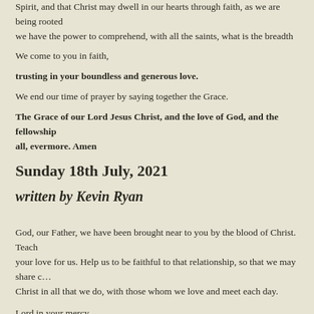Spirit, and that Christ may dwell in our hearts through faith, as we are being rooted … we have the power to comprehend, with all the saints, what is the breadth and le… to know the love of Christ that surpasses knowledge, so that we may be filled wit…
We come to you in faith,
trusting in your boundless and generous love.
We end our time of prayer by saying together the Grace.
The Grace of our Lord Jesus Christ, and the love of God, and the fellowship… all, evermore. Amen
Sunday 18th July, 2021
written by Kevin Ryan
God, our Father, we have been brought near to you by the blood of Christ. Teach … your love for us. Help us to be faithful to that relationship, so that we may share c… Christ in all that we do, with those whom we love and meet each day.
Lord in your mercy.
Hear our prayer.